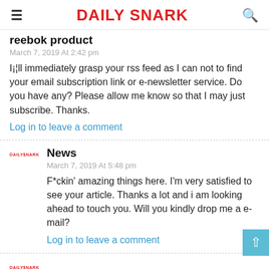Daily Snark
reebok product
March 7, 2019 At 2:42 pm
I¡¦ll immediately grasp your rss feed as I can not to find your email subscription link or e-newsletter service. Do you have any? Please allow me know so that I may just subscribe. Thanks.
Log in to leave a comment
News
March 7, 2019 At 5:48 pm
F*ckin' amazing things here. I'm very satisfied to see your article. Thanks a lot and i am looking ahead to touch you. Will you kindly drop me a e-mail?
Log in to leave a comment